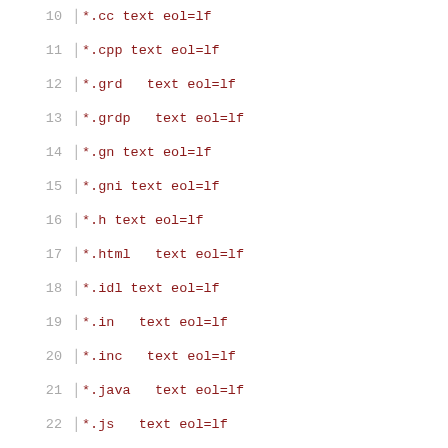10 *.cc text eol=lf
11 *.cpp text eol=lf
12 *.grd   text eol=lf
13 *.grdp   text eol=lf
14 *.gn text eol=lf
15 *.gni text eol=lf
16 *.h text eol=lf
17 *.html   text eol=lf
18 *.idl text eol=lf
19 *.in   text eol=lf
20 *.inc   text eol=lf
21 *.java   text eol=lf
22 *.js   text eol=lf
23 *.json   text eol=lf
24 *.json5 text eol=lf
25 *.md text eol=lf
26 *.mm text eol=lf
27 *.mojom text eol=lf
28 *.sh text eol=lf
29 *.sql   text eol=lf
30 *.txt   text eol=lf
31 *.xml   text eol=lf